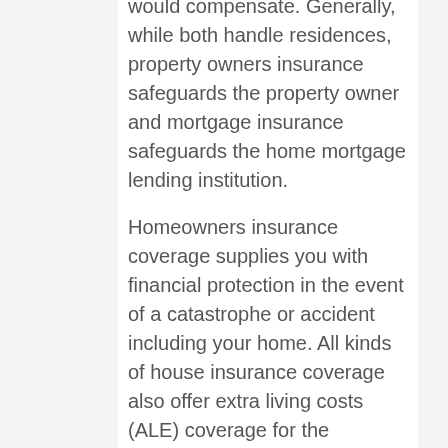would compensate. Generally, while both handle residences, property owners insurance safeguards the property owner and mortgage insurance safeguards the home mortgage lending institution.
Homeowners insurance coverage supplies you with financial protection in the event of a catastrophe or accident including your home. All kinds of house insurance coverage also offer extra living costs (ALE) coverage for the additional costs of living away from house if it is uninhabitable due to damage from an insured catastrophe. What is not covered by a standard homeowners policy. While homeowners...